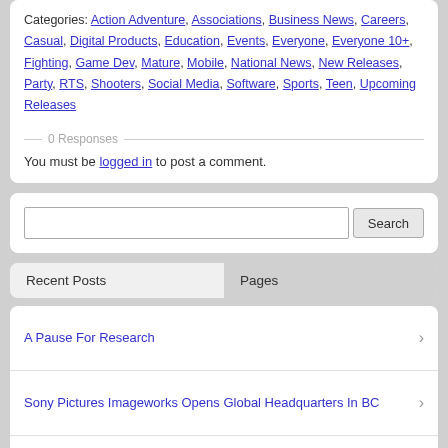Categories: Action Adventure, Associations, Business News, Careers, Casual, Digital Products, Education, Events, Everyone, Everyone 10+, Fighting, Game Dev, Mature, Mobile, National News, New Releases, Party, RTS, Shooters, Social Media, Software, Sports, Teen, Upcoming Releases
0 Responses
You must be logged in to post a comment.
Search
Recent Posts | Pages
A Pause For Research
Sony Pictures Imageworks Opens Global Headquarters In BC
Women Screen Directors Wanted In New Story And Leadership Program
The Worlds Of Good And Evil Collide When Descendants Premieres On